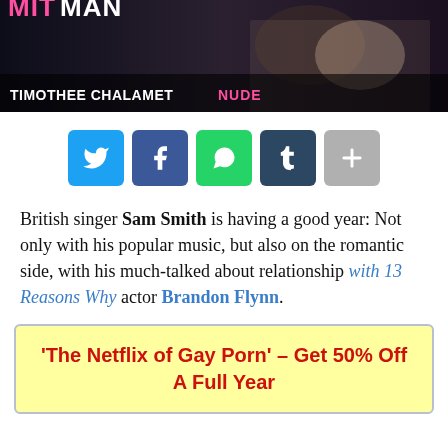[Figure (photo): Dark background image with text overlay reading 'TIMOTHEE CHALAMET NUDE' with pink and white lettering]
[Figure (infographic): Row of social media share buttons: Twitter (blue bird), Facebook (blue f), WhatsApp (green phone), Tumblr (dark blue t), More (gray +)]
British singer Sam Smith is having a good year: Not only with his popular music, but also on the romantic side, with his much-talked about relationship with 13 Reasons Why actor Brandon Flynn.
'The Netflix of Gay Porn' – Get 50% Off A Full Year